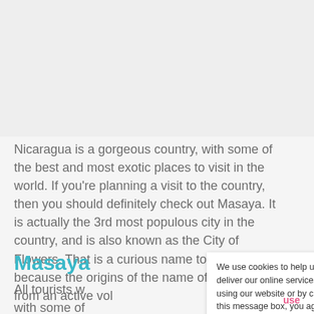[Figure (photo): Image placeholder at top of page, light grey background]
Nicaragua is a gorgeous country, with some of the best and most exotic places to visit in the world. If you're planning a visit to the country, then you should definitely check out Masaya. It is actually the 3rd most populous city in the country, and is also known as the City of Flowers. That is a curious name to have because the origins of the name of the city come from an active vol
Masaya
All tourists w... with some of...
more
We use cookies to help us deliver our online services. By using our website or by closing this message box, you agree to our use of cookies as described in our Cookie policy.
use